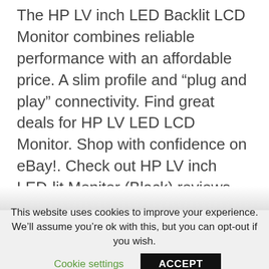The HP LV inch LED Backlit LCD Monitor combines reliable performance with an affordable price. A slim profile and “plug and play” connectivity. Find great deals for HP LV LED LCD Monitor. Shop with confidence on eBay!. Check out HP LV inch LED-lit Monitor (Black) reviews, ratings, features , specifications and browse more HP products online at best prices on.
This website uses cookies to improve your experience. We'll assume you're ok with this, but you can opt-out if you wish.
Cookie settings
ACCEPT